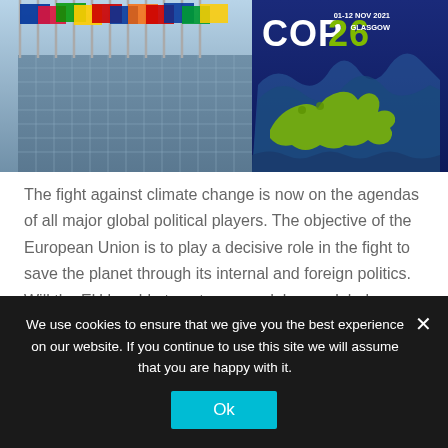[Figure (photo): Composite image: left side shows EU building with flags on flagpoles against blue sky; right side shows COP26 logo with '01-12 NOV 2021 GLASGOW' text and a stylized animal graphic on dark blue background]
The fight against climate change is now on the agendas of all major global political players. The objective of the European Union is to play a decisive role in the fight to save the planet through its internal and foreign politics. Will the EU be able to act as a model on a global level?...
Read more
We use cookies to ensure that we give you the best experience on our website. If you continue to use this site we will assume that you are happy with it.
Ok